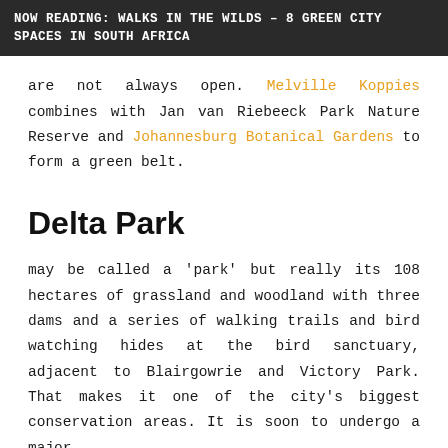NOW READING: WALKS IN THE WILDS – 8 GREEN CITY SPACES IN SOUTH AFRICA
are not always open. Melville Koppies combines with Jan van Riebeeck Park Nature Reserve and Johannesburg Botanical Gardens to form a green belt.
Delta Park
may be called a 'park' but really its 108 hectares of grassland and woodland with three dams and a series of walking trails and bird watching hides at the bird sanctuary, adjacent to Blairgowrie and Victory Park. That makes it one of the city's biggest conservation areas. It is soon to undergo a major